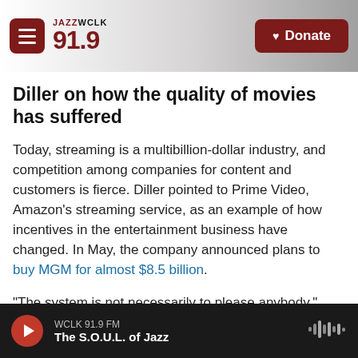JAZZ WCLK 91.9 — Donate
Diller on how the quality of movies has suffered
Today, streaming is a multibillion-dollar industry, and competition among companies for content and customers is fierce. Diller pointed to Prime Video, Amazon's streaming service, as an example of how incentives in the entertainment business have changed. In May, the company announced plans to buy MGM for almost $8.5 billion.
"The system is not necessarily to please anybody," Diller said, suggesting Prime Video's primary
WCLK 91.9 FM — The S.O.U.L. of Jazz